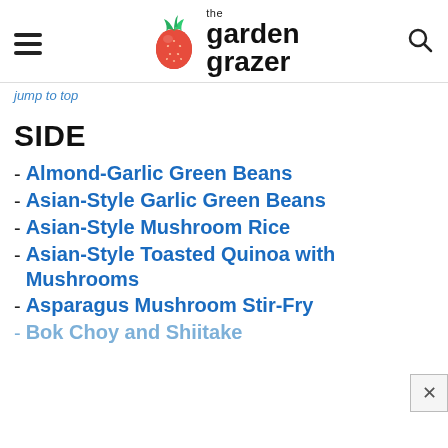the garden grazer
jump to top
SIDE
Almond-Garlic Green Beans
Asian-Style Garlic Green Beans
Asian-Style Mushroom Rice
Asian-Style Toasted Quinoa with Mushrooms
Asparagus Mushroom Stir-Fry
Bok Choy and Shiitake